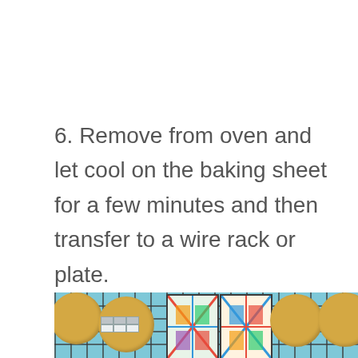6. Remove from oven and let cool on the baking sheet for a few minutes and then transfer to a wire rack or plate.
[Figure (photo): Photo of golden-brown cookies on a wire rack with colorful patterned decorations on a light blue background, partially cropped at bottom of page.]